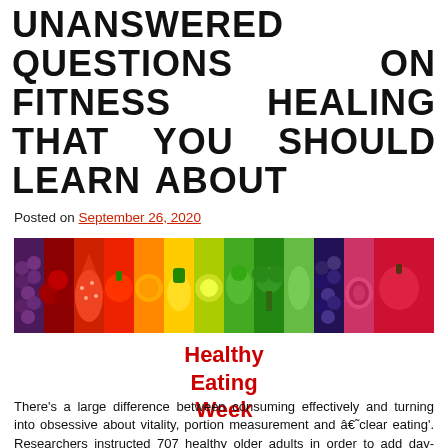UNANSWERED QUESTIONS ON FITNESS HEALING THAT YOU SHOULD LEARN ABOUT
Posted on September 26, 2020
[Figure (photo): Rainbow-arranged colorful fruits and vegetables in vertical strips: grapes, cherries, strawberries, tomato, orange, pineapple, kiwi, green vegetables, broccoli, cucumber, grapes/blueberries, onion, apple/plum]
Healthy Eating Week
There's a large difference between consuming effectively and turning into obsessive about vitality, portion measurement and â€˜clear eating'. Researchers instructed 707 healthy older adults in order to add day-after-day doses of walnuts ( roughly 15 % of caloric intake) to their typical weight reduction plan or to devour their conventional weight reduction plan with out nuts. The food and bodily activity